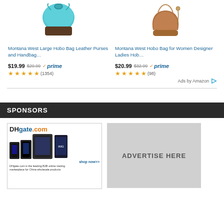[Figure (photo): Montana West Large Hobo Bag - teal/blue leather purse product image]
[Figure (photo): Montana West Hobo Bag for Women - brown leather designer handbag product image]
Montana West Large Hobo Bag Leather Purses and Handbag…
Montana West Hobo Bag for Women Designer Ladies Hob…
$19.99 $29.99 ✓prime
$20.99 $32.99 ✓prime
★★★★½ (1354)
★★★★½ (98)
Ads by Amazon ▷
SPONSORS
[Figure (screenshot): DHgate.com advertisement - B2B online trading marketplace for China wholesale products, showing phones and tablets, shop now>>]
ADVERTISE HERE